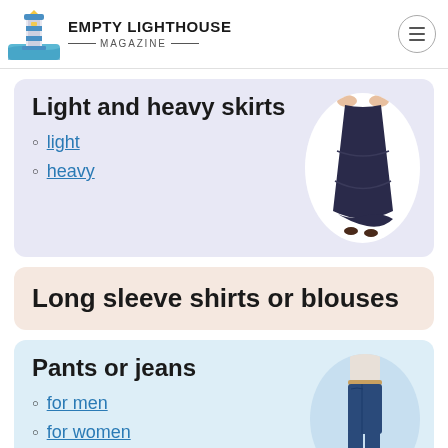EMPTY LIGHTHOUSE MAGAZINE
Light and heavy skirts
light
heavy
[Figure (photo): Person holding up a long dark navy tiered maxi skirt]
Long sleeve shirts or blouses
Pants or jeans
for men
for women
for boys
[Figure (photo): Woman wearing dark skinny jeans]